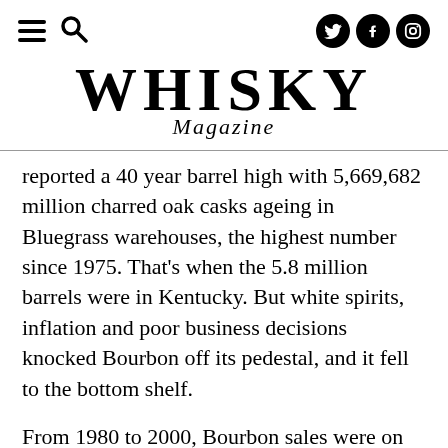Whisky Magazine - navigation header with social icons
WHISKY Magazine
reported a 40 year barrel high with 5,669,682 million charred oak casks ageing in Bluegrass warehouses, the highest number since 1975. That's when the 5.8 million barrels were in Kentucky. But white spirits, inflation and poor business decisions knocked Bourbon off its pedestal, and it fell to the bottom shelf.
From 1980 to 2000, Bourbon sales were on life support, but passion, good whiskey and the consumer's organic pull brought Bourbon back.